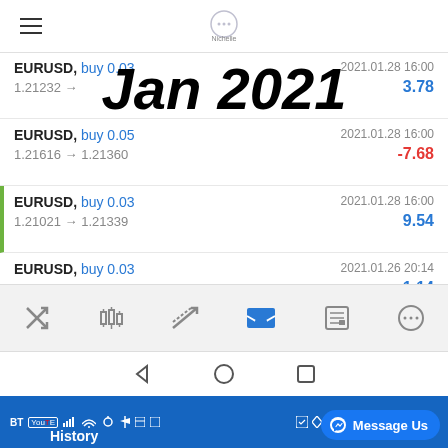Nichelle (app header with logo)
Jan 2021 (overlay label)
| Instrument | Date | P&L |
| --- | --- | --- |
| EURUSD, buy 0.03  1.21232 → | 2021.01.28 16:00 | 3.78 |
| EURUSD, buy 0.05  1.21616 → 1.21360 | 2021.01.28 16:00 | -7.68 |
| EURUSD, buy 0.03  1.21021 → 1.21339 | 2021.01.28 16:00 | 9.54 |
| EURUSD, buy 0.03  1.21577 → 1.21615 | 2021.01.26 20:14 | 1.14 |
[Figure (screenshot): Mobile app bottom navigation bar with icons: trades, candlestick chart, trend line, inbox, news, chat]
[Figure (screenshot): Android system navigation bar with back triangle, home circle, and recent apps square]
[Figure (screenshot): Android status bar showing BT, YouTube, signal, WiFi icons on blue background, with Messenger Message Us button and History label]